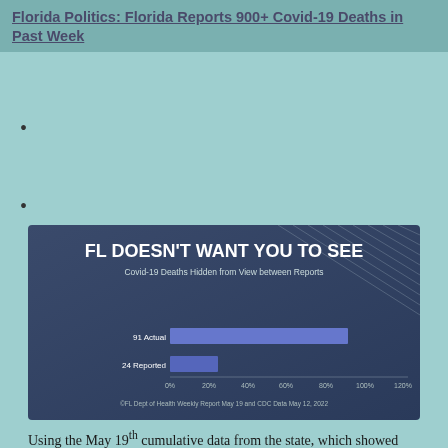Florida Politics: Florida Reports 900+ Covid-19 Deaths in Past Week
[Figure (bar-chart): Horizontal bar chart showing 91 Actual vs 24 Reported Covid-19 deaths. Source: FL Dept of Health weekly Report May 19 and CDC Data May 12, 2022]
Using the May 19th cumulative data from the state, which showed 74,379 Florida deaths, I determined